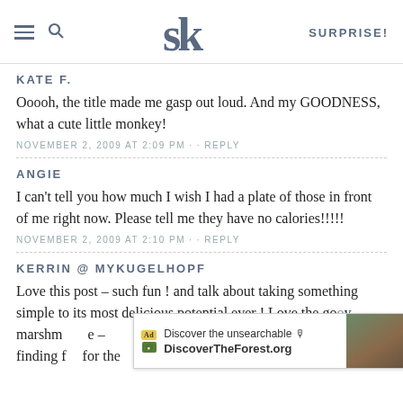SK · SURPRISE!
KATE F.
Ooooh, the title made me gasp out loud. And my GOODNESS, what a cute little monkey!
NOVEMBER 2, 2009 AT 2:09 PM · · REPLY
ANGIE
I can't tell you how much I wish I had a plate of those in front of me right now. Please tell me they have no calories!!!!!
NOVEMBER 2, 2009 AT 2:10 PM · · REPLY
KERRIN @ MYKUGELHOPF
Love this post – such fun ! and talk about taking something simple to its most delicious potential ever ! Love the gooey marshmallow–e – finding f for the